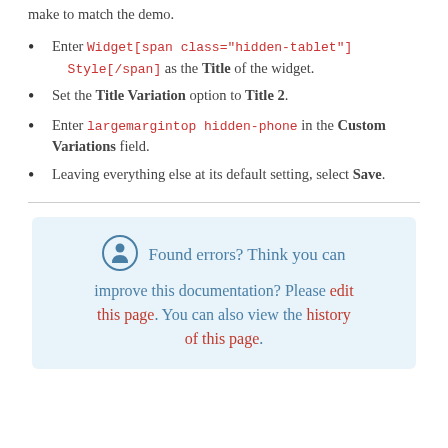make to match the demo.
Enter Widget[span class="hidden-tablet"] Style[/span] as the Title of the widget.
Set the Title Variation option to Title 2.
Enter largemargintop hidden-phone in the Custom Variations field.
Leaving everything else at its default setting, select Save.
Found errors? Think you can improve this documentation? Please edit this page. You can also view the history of this page.